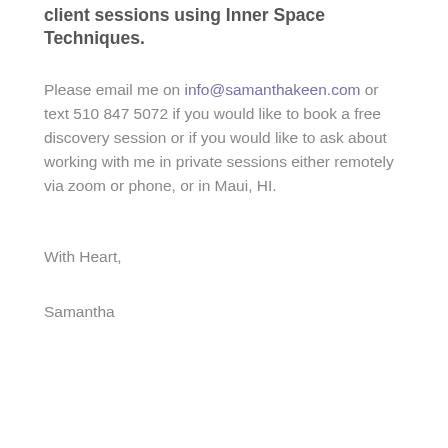client sessions using Inner Space Techniques.
Please email me on info@samanthakeen.com or text 510 847 5072 if you would like to book a free discovery session or if you would like to ask about working with me in private sessions either remotely via zoom or phone, or in Maui, HI.
With Heart,
Samantha